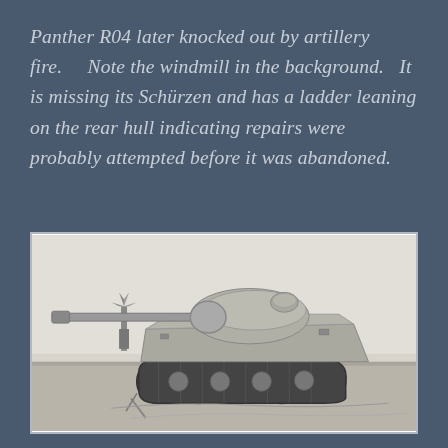Panther R04 later knocked out by artillery fire.    Note the windmill in the background.   It is missing its Schürzen and has a ladder leaning on the rear hull indicating repairs were probably attempted before it was abandoned.
[Figure (photo): Black and white photograph of a German Panther tank (R04) in a field. The tank is shown from the side, with its long gun barrel pointing to the left. A windmill is visible in the background. The tank is missing its Schürzen side skirts, and appears to have been abandoned in an open field.]